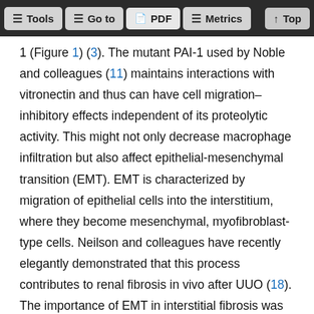Tools | Go to | PDF | Metrics | Top
1 (Figure 1) (3). The mutant PAI-1 used by Noble and colleagues (11) maintains interactions with vitronectin and thus can have cell migration–inhibitory effects independent of its proteolytic activity. This might not only decrease macrophage infiltration but also affect epithelial-mesenchymal transition (EMT). EMT is characterized by migration of epithelial cells into the interstitium, where they become mesenchymal, myofibroblast-type cells. Neilson and colleagues have recently elegantly demonstrated that this process contributes to renal fibrosis in vivo after UUO (18). The importance of EMT in interstitial fibrosis was also supported by a decrease in interstitial collagen after UUO in t-PA−/− mice. This protection was linked to decreased MMP-9 induction and preserved tubular basement